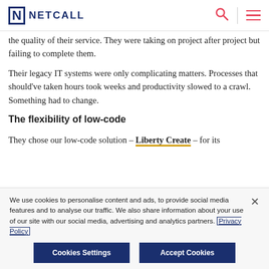NETCALL
the quality of their service. They were taking on project after project but failing to complete them.
Their legacy IT systems were only complicating matters. Processes that should've taken hours took weeks and productivity slowed to a crawl. Something had to change.
The flexibility of low-code
They chose our low-code solution – Liberty Create – for its
We use cookies to personalise content and ads, to provide social media features and to analyse our traffic. We also share information about your use of our site with our social media, advertising and analytics partners. Privacy Policy
Cookies Settings   Accept Cookies